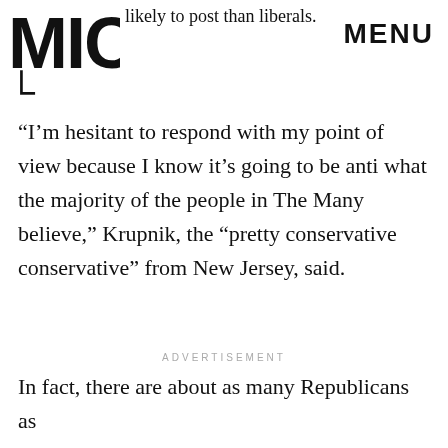MENU
[Figure (logo): MIC logo in black bold letters]
likely to post than liberals.
“I’m hesitant to respond with my point of view because I know it’s going to be anti what the majority of the people in The Many believe,” Krupnik, the “pretty conservative conservative” from New Jersey, said.
ADVERTISEMENT
In fact, there are about as many Republicans as